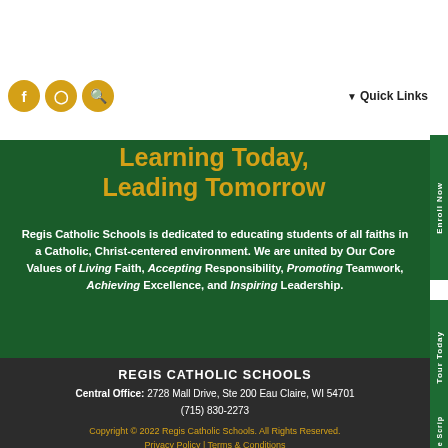[Figure (logo): Regis Catholic Schools logo with shield and cross, green and gold color scheme]
[Figure (other): Green hamburger menu button with three gold horizontal bars]
[Figure (other): Gold circular social media icons: Facebook, Instagram, Search; Quick Links dropdown text]
Learning Today, Leading Tomorrow
Regis Catholic Schools is dedicated to educating students of all faiths in a Catholic, Christ-centered environment. We are united by Our Core Values of Living Faith, Accepting Responsibility, Promoting Teamwork, Achieving Excellence, and Inspiring Leadership.
REGIS CATHOLIC SCHOOLS
Central Office: 2728 Mall Drive, Ste 200 Eau Claire, WI 54701
(715) 830-2273
Copyright © 2022 Regis Catholic Schools. All Rights Reserved.
Privacy Policy | Terms & Conditions